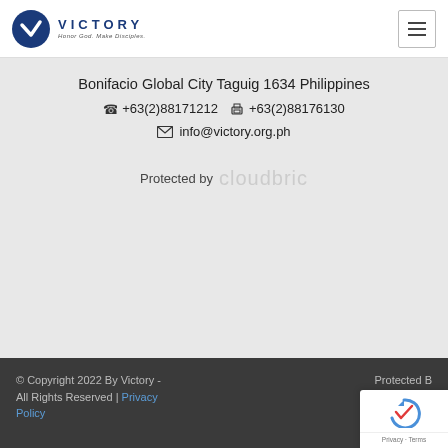[Figure (logo): Victory logo: blue circle with white V chevron, text VICTORY in blue caps, tagline 'Honor God. Make Disciples.' in grey italic]
Bonifacio Global City Taguig 1634 Philippines
+63(2)88171212  +63(2)88176130
info@victory.org.ph
Protected by cloudbric
© Copyright 2022 By Victory - All Rights Reserved | Privacy Policy   Protected B[y cloudbric]